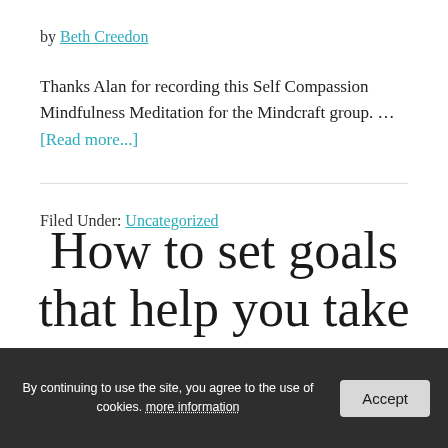by Beth Creedon
Thanks Alan for recording this Self Compassion Mindfulness Meditation for the Mindcraft group. … [Read more...]
Filed Under: Uncategorized
How to set goals that help you take action
By continuing to use the site, you agree to the use of cookies. more information